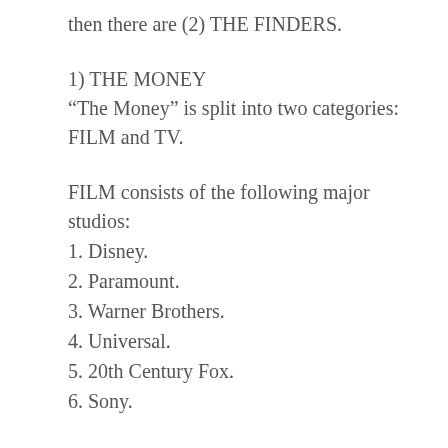then there are (2) THE FINDERS.
1) THE MONEY
“The Money” is split into two categories: FILM and TV.
FILM consists of the following major studios:
1. Disney.
2. Paramount.
3. Warner Brothers.
4. Universal.
5. 20th Century Fox.
6. Sony.
In addition there are the Mini Majors such